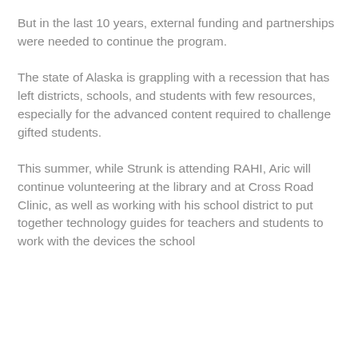But in the last 10 years, external funding and partnerships were needed to continue the program.
The state of Alaska is grappling with a recession that has left districts, schools, and students with few resources, especially for the advanced content required to challenge gifted students.
This summer, while Strunk is attending RAHI, Aric will continue volunteering at the library and at Cross Road Clinic, as well as working with his school district to put together technology guides for teachers and students to work with the devices the school